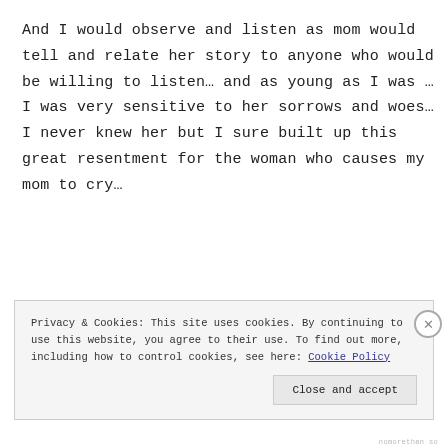And I would observe and listen as mom would tell and relate her story to anyone who would be willing to listen… and as young as I was …I was very sensitive to her sorrows and woes… I never knew her but I sure built up this great resentment for the woman who causes my mom to cry…
My mom was admitted in the hospital s
Privacy & Cookies: This site uses cookies. By continuing to use this website, you agree to their use. To find out more, including how to control cookies, see here: Cookie Policy
Close and accept
nomorethan so